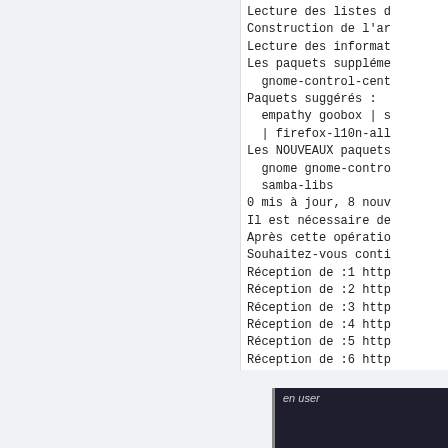Lecture des listes d
Construction de l'ar
Lecture des informat
Les paquets suppléme
  gnome-control-cent
Paquets suggérés :
  empathy goobox | s
  | firefox-l10n-all
Les NOUVEAUX paquets
  gnome gnome-contro
  samba-libs
0 mis à jour, 8 nouv
Il est nécessaire de
Après cette opératio
Souhaitez-vous conti
Réception de :1 http
Réception de :2 http
Réception de :3 http
Réception de :4 http
Réception de :5 http
Réception de :6 http
[Figure (screenshot): Code snippet box showing 'en user' caption and command: sudo apt install --r]
[Figure (screenshot): Partial code snippet box at the bottom of the page]